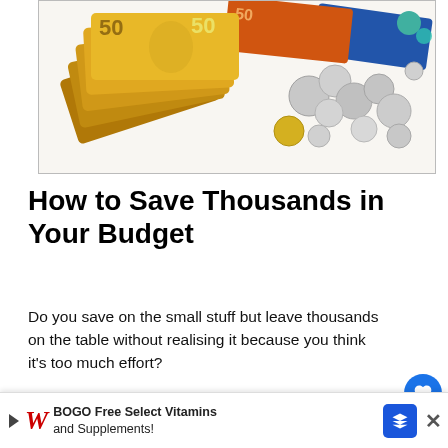[Figure (photo): Australian 50 dollar bills (yellow/gold) fanned out with silver coins scattered to the right, on a white background]
How to Save Thousands in Your Budget
Do you save on the small stuff but leave thousands on the table without realising it because you think it's too much effort?
Nationwide research conducted by University of Technology Sydney (UTS) revealed Australians cra... sa...ing
[Figure (infographic): Advertisement banner: Walgreens BOGO Free Select Vitamins and Supplements with blue arrow navigation button and close X button]